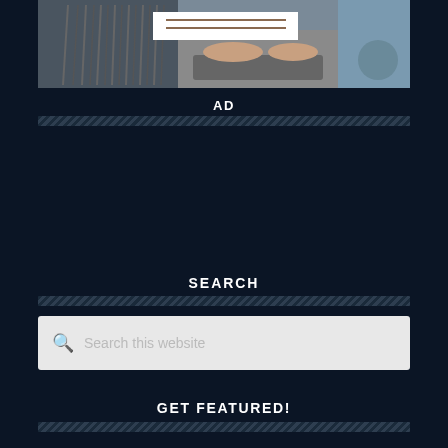[Figure (photo): A person browsing vinyl records or files at a desk with their hands on a keyboard, wide cropped image strip at top of page]
AD
SEARCH
Search this website
GET FEATURED!